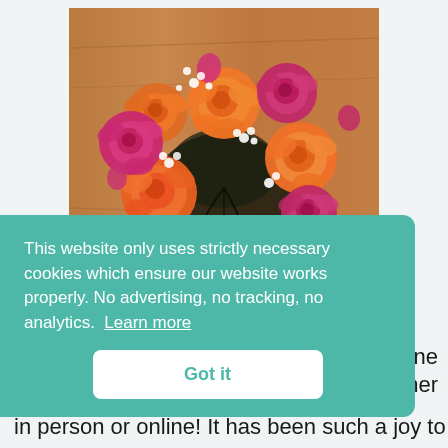[Figure (photo): Overhead view of a colorful flower bouquet with orange roses, hot pink roses, and small white baby's breath flowers, on a wooden surface background.]
This website only uses strictly necessary cookies which ensure our website works properly. No advertising, no tracking, no analytics.  Learn more
Got it
one
her
in person or online! It has been such a joy to